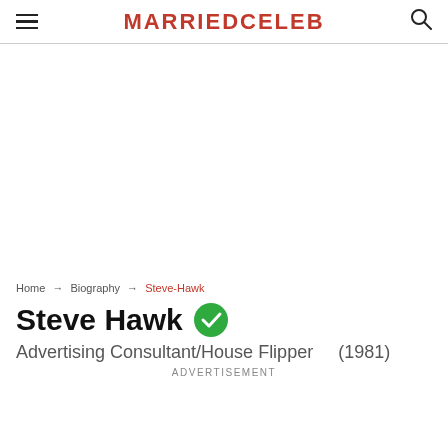MARRIEDCELEB
Home → Biography → Steve-Hawk
Steve Hawk
Advertising Consultant/House Flipper    (1981)
ADVERTISEMENT